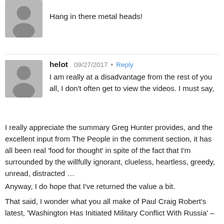[Figure (illustration): Gray avatar/profile placeholder image (partial, top of page)]
Hang in there metal heads!
[Figure (illustration): Gray avatar/profile placeholder image for user 'helot']
helot
09/27/2017 • Reply
I am really at a disadvantage from the rest of you all, I don't often get to view the videos. I must say, I really appreciate the summary Greg Hunter provides, and the excellent input from The People in the comment section, it has all been real 'food for thought' in spite of the fact that I'm surrounded by the willfully ignorant, clueless, heartless, greedy, unread, distracted …
Anyway, I do hope that I've returned the value a bit.
That said, I wonder what you all make of Paul Craig Robert's latest, 'Washington Has Initiated Military Conflict With Russia' – September 27, 2017. Spooky stuff, that can't be dismissed by saying, 'it's from RT'. [Unless, we're being played, and both sides (West and East) are in cahoots. It's possible, I suppose.]
When Gordon Long says, 'The system will break', I'm reminded